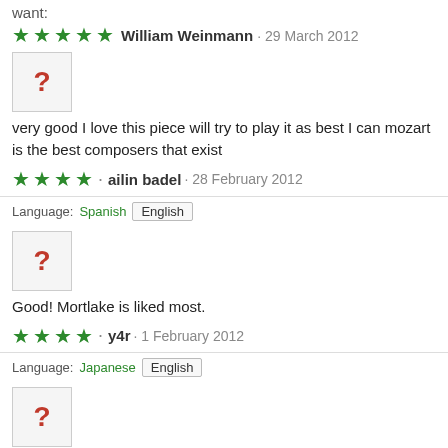want:
★★★★★ William Weinmann · 29 March 2012
[Figure (illustration): Avatar placeholder box with red question mark]
very good I love this piece will try to play it as best I can mozart is the best composers that exist
★★★★ · ailin badel · 28 February 2012
Language: Spanish  English
[Figure (illustration): Avatar placeholder box with red question mark]
Good! Mortlake is liked most.
★★★★ · y4r · 1 February 2012
Language: Japanese  English
[Figure (illustration): Avatar placeholder box with red question mark]
very good topic and resolution of partituta
★★★★★ michele iannuzzi · 29 October 2011